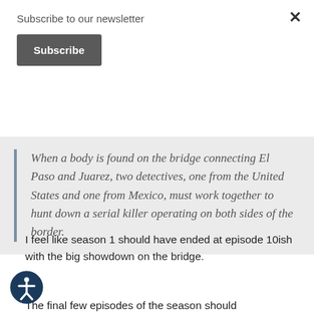Subscribe to our newsletter
Subscribe
When a body is found on the bridge connecting El Paso and Juarez, two detectives, one from the United States and one from Mexico, must work together to hunt down a serial killer operating on both sides of the border.
I feel like season 1 should have ended at episode 10ish with the big showdown on the bridge.
The final few episodes of the season should